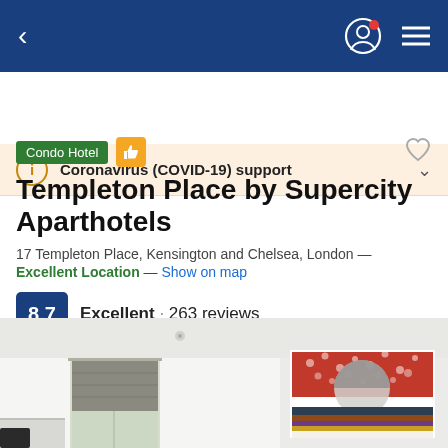< [nav] profile icon / menu
Coronavirus (COVID-19) support
Condo Hotel
Templeton Place by Supercity Aparthotels
17 Templeton Place, Kensington and Chelsea, London — Excellent Location — Show on map
8.7  Excellent · 263 reviews
[Figure (photo): Interior photo of a modern hotel room/apartment with white walls, grey roman blind window, white kitchen cabinets, and a colorful abstract artwork on the right wall featuring circular and stripe patterns in red, orange, purple, and black.]